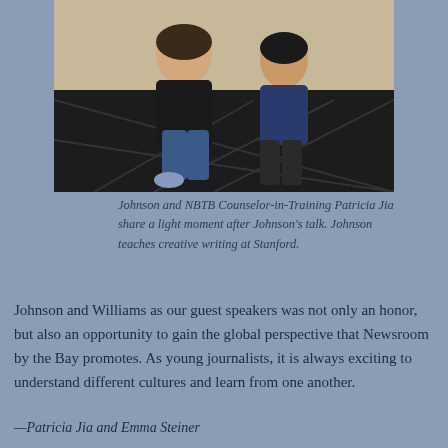[Figure (photo): Two people crouching down together on a dark patterned carpet floor, sharing a light moment. One person is wearing a black jacket and jeans, the other is wearing a dark blue top.]
Johnson and NBTB Counselor-in-Training Patricia Jia share a light moment after Johnson's talk. Johnson teaches creative writing at Stanford.
Johnson and Williams as our guest speakers was not only an honor, but also an opportunity to gain the global perspective that Newsroom by the Bay promotes. As young journalists, it is always exciting to understand different cultures and learn from one another.
—Patricia Jia and Emma Steiner